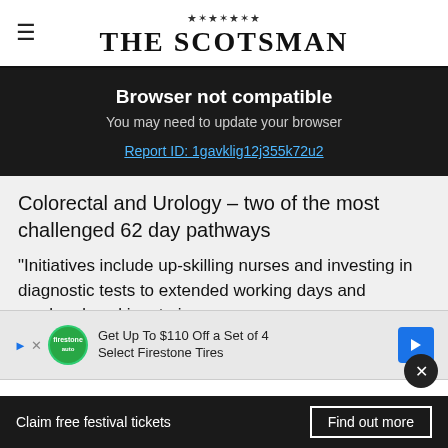THE SCOTSMAN
Browser not compatible
You may need to update your browser
Report ID: 1gavklig12j355k72u2
Colorectal and Urology – two of the most challenged 62 day pathways
"Initiatives include up-skilling nurses and investing in diagnostic tests to extended working days and weekend working, to increase capacity to treat cancer patients as quickly as possible.
[Figure (other): Advertisement banner: Get Up To $110 Off a Set of 4 Select Firestone Tires]
Claim free festival tickets   Find out more